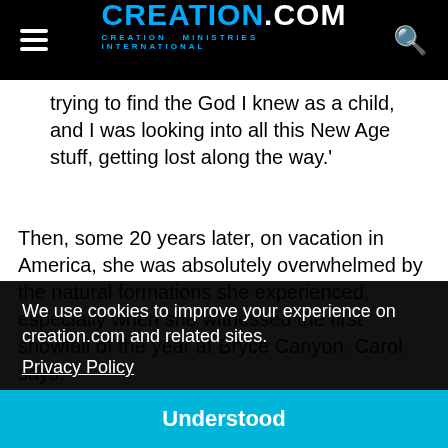CREATION.com | CREATION MINISTRIES INTERNATIONAL
trying to find the God I knew as a child, and I was looking into all this New Age stuff, getting lost along the way.'
Then, some 20 years later, on vacation in America, she was absolutely overwhelmed by the natural formations she experienced, especially when she witnessed the first snowfall of the year at Bryce Canyon. Carol says:
We use cookies to improve your experience on creation.com and related sites. Privacy Policy
Understood